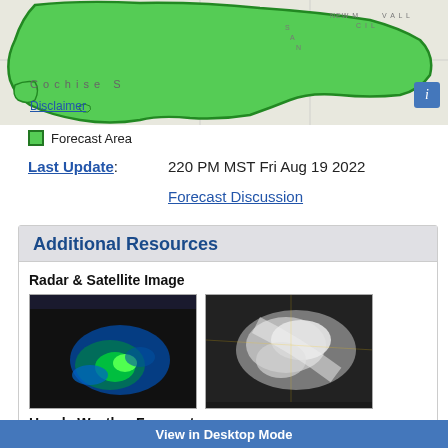[Figure (map): Map of the United States showing forecast area highlighted in green, with state/region labels including Cochise, Arizona, New Mexico, San, Valle. Info button visible in top right.]
Forecast Area
Last Update: 220 PM MST Fri Aug 19 2022
Forecast Discussion
Additional Resources
Radar & Satellite Image
[Figure (photo): Radar image showing storm system with blue and green returns over the region]
[Figure (photo): Satellite image showing cloud system in grayscale/infrared]
Hourly Weather Forecast
[Figure (other): Hourly weather forecast chart partially visible]
View in Desktop Mode